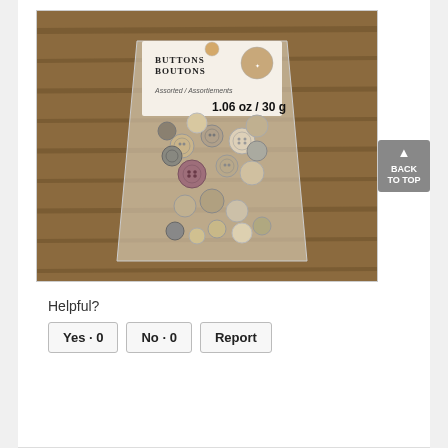[Figure (photo): A clear plastic package of assorted buttons labeled 'Buttons Boutons, Assorted/Assortiements, 1.06 oz / 30 g' on a wooden surface. The package contains many small buttons in natural, tan, gray, and one purple color.]
Helpful?
Yes · 0    No · 0    Report